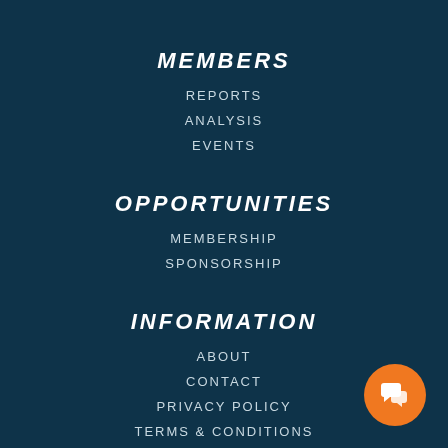MEMBERS
REPORTS
ANALYSIS
EVENTS
OPPORTUNITIES
MEMBERSHIP
SPONSORSHIP
INFORMATION
ABOUT
CONTACT
PRIVACY POLICY
TERMS & CONDITIONS
[Figure (illustration): Orange circular chat/message button icon in bottom-right corner]